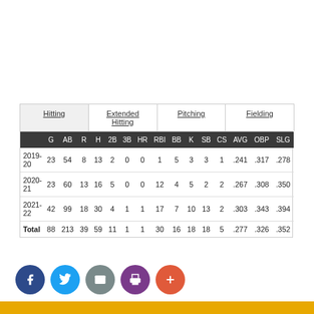|  | G | AB | R | H | 2B | 3B | HR | RBI | BB | K | SB | CS | AVG | OBP | SLG |
| --- | --- | --- | --- | --- | --- | --- | --- | --- | --- | --- | --- | --- | --- | --- | --- |
| 2019-20 | 23 | 54 | 8 | 13 | 2 | 0 | 0 | 1 | 5 | 3 | 3 | 1 | .241 | .317 | .278 |
| 2020-21 | 23 | 60 | 13 | 16 | 5 | 0 | 0 | 12 | 4 | 5 | 2 | 2 | .267 | .308 | .350 |
| 2021-22 | 42 | 99 | 18 | 30 | 4 | 1 | 1 | 17 | 7 | 10 | 13 | 2 | .303 | .343 | .394 |
| Total | 88 | 213 | 39 | 59 | 11 | 1 | 1 | 30 | 16 | 18 | 18 | 5 | .277 | .326 | .352 |